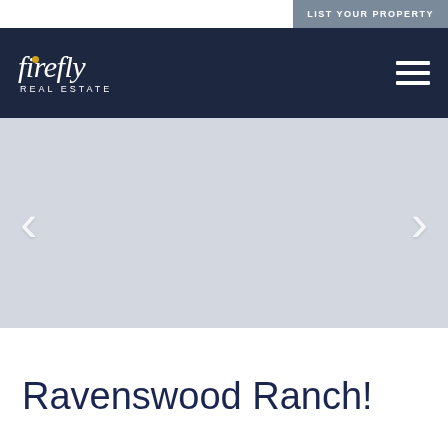LIST YOUR PROPERTY
[Figure (logo): Firefly Real Estate logo with italic serif text and golden dot above the letter i, with hamburger menu icon on the right]
[Figure (photo): Property image slideshow placeholder with left and right navigation arrows on a light gray background]
Ravenswood Ranch!